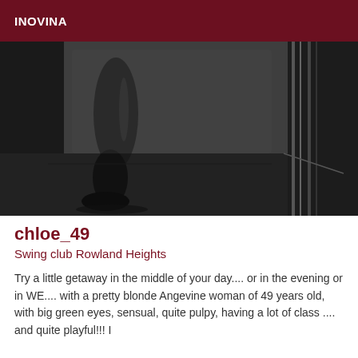INOVINA
[Figure (photo): Black and white close-up photograph of a person's legs/feet standing on a floor near a wall or door]
chloe_49
Swing club Rowland Heights
Try a little getaway in the middle of your day.... or in the evening or in WE.... with a pretty blonde Angevine woman of 49 years old, with big green eyes, sensual, quite pulpy, having a lot of class .... and quite playful!!! I